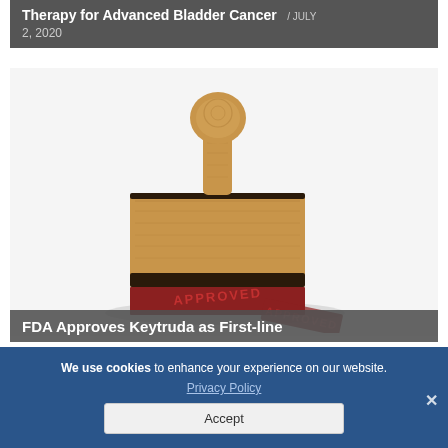Therapy for Advanced Bladder Cancer / JULY 2, 2020
[Figure (photo): A rubber stamp lying on its side showing 'APPROVED' in red ink on the stamp face, with a wooden handle, on a white background.]
FDA Approves Keytruda as First-line
We use cookies to enhance your experience on our website. Privacy Policy
Accept